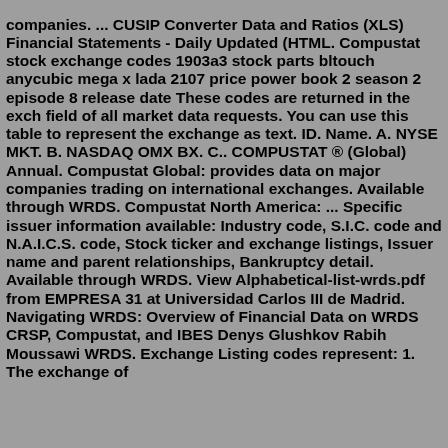companies. ... CUSIP Converter Data and Ratios (XLS) Financial Statements - Daily Updated (HTML. Compustat stock exchange codes 1903a3 stock parts bltouch anycubic mega x lada 2107 price power book 2 season 2 episode 8 release date These codes are returned in the exch field of all market data requests. You can use this table to represent the exchange as text. ID. Name. A. NYSE MKT. B. NASDAQ OMX BX. C.. COMPUSTAT ® (Global) Annual. Compustat Global: provides data on major companies trading on international exchanges. Available through WRDS. Compustat North America: ... Specific issuer information available: Industry code, S.I.C. code and N.A.I.C.S. code, Stock ticker and exchange listings, Issuer name and parent relationships, Bankruptcy detail. Available through WRDS. View Alphabetical-list-wrds.pdf from EMPRESA 31 at Universidad Carlos III de Madrid. Navigating WRDS: Overview of Financial Data on WRDS CRSP, Compustat, and IBES Denys Glushkov Rabih Moussawi WRDS. Exchange Listing codes represent: 1. The exchange of